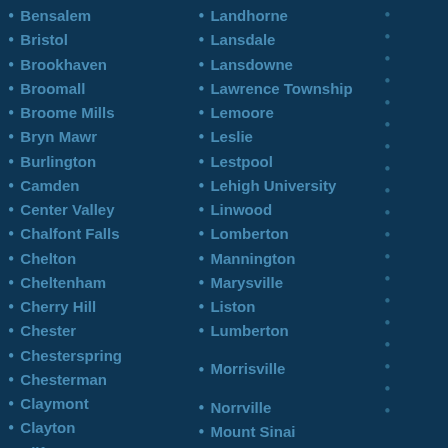Bensalem
Bristol
Brookhaven
Broomall
Broomall Mills
Bryn Mawr
Burlington
Camden
Center Valley
Chalfont Falls
Chelton
Cheltenham
Cherry Hill
Chester
Chesterspring
Chesterman
Claymont
Clayton
Clifton
Landhorne
Lansdale
Lansdowne
Lawrence Township
Lemoore
Leslie
Lestpool
Lehigh University
Linwood
Lomberton
Mannington
Marysville
Liston
Lumberton
Lumberton
Morrisville
Norrville
Mount Sinai